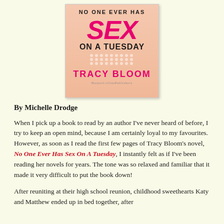[Figure (photo): Book cover of 'No One Ever Has Sex On A Tuesday' by Tracy Bloom. Pink/peach background with large magenta handwritten SEX text and 'ON A TUESDAY' in bold black. Author name TRACY BLOOM in magenta at the bottom.]
By Michelle Drodge
When I pick up a book to read by an author I've never heard of before, I try to keep an open mind, because I am certainly loyal to my favourites. However, as soon as I read the first few pages of Tracy Bloom's novel, No One Ever Has Sex On A Tuesday, I instantly felt as if I've been reading her novels for years. The tone was so relaxed and familiar that it made it very difficult to put the book down!
After reuniting at their high school reunion, childhood sweethearts Katy and Matthew ended up in bed together, after